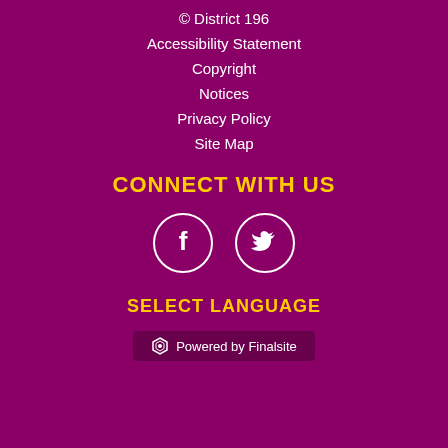© District 196
Accessibility Statement
Copyright
Notices
Privacy Policy
Site Map
CONNECT WITH US
[Figure (illustration): Two circular social media icons: Facebook (f) and Twitter (bird icon), outlined in white on purple background]
SELECT LANGUAGE
Powered by Finalsite